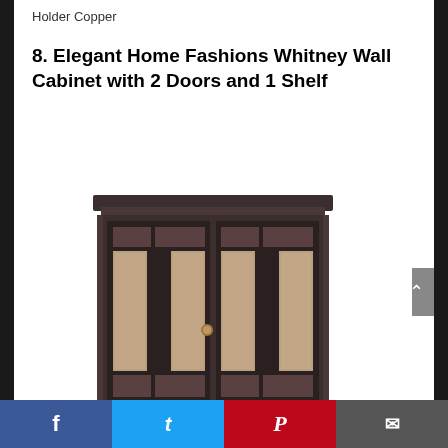Holder Copper
8. Elegant Home Fashions Whitney Wall Cabinet with 2 Doors and 1 Shelf
[Figure (photo): Dark espresso/brown wood wall cabinet with 2 glass-panel doors featuring decorative mosaic/crystal insets arranged in vertical panels, ornate crown molding top, and copper-colored knob hardware. Cabinet is shown from a front-facing perspective.]
Facebook | Twitter | Pinterest | Email